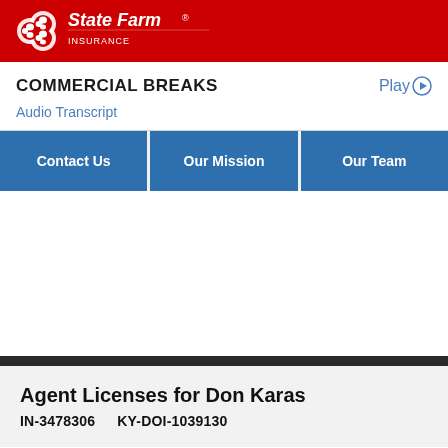[Figure (logo): State Farm logo — three oval shapes (red/white) plus 'State Farm' wordmark in white on red background]
COMMERCIAL BREAKS
Play ▶
Audio Transcript
[Figure (other): Three blue navigation buttons: Contact Us, Our Mission, Our Team]
Agent Licenses for Don Karas
IN-3478306    KY-DOI-1039130